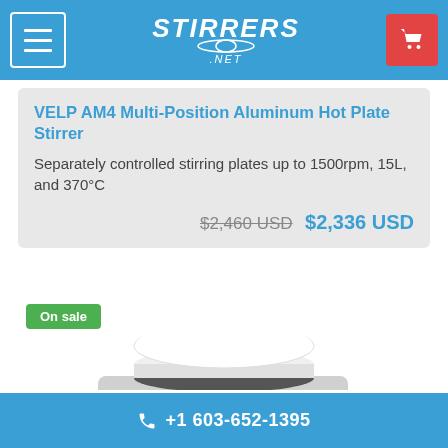STIRRERS .NET
VELP AM4 Multi-Position Aluminum Hot Plate Stirrer
Separately controlled stirring plates up to 1500rpm, 15L, and 370°C
$2,460 USD  $2,336 USD
[Figure (photo): VELP AM4 hot plate stirrer with white ceramic top plate and blue control knobs on light grey body]
+1 603-652-1395